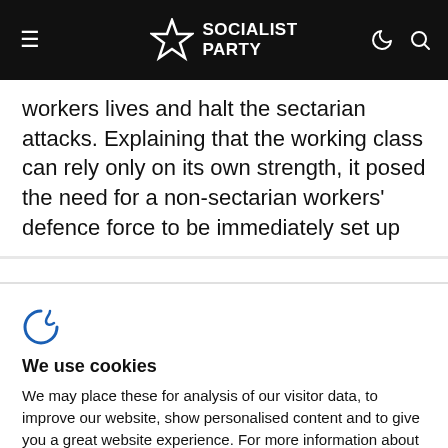Socialist Party
workers lives and halt the sectarian attacks. Explaining that the working class can rely only on its own strength, it posed the need for a non-sectarian workers' defence force to be immediately set up
Privacy policy
[Figure (logo): Cookiebot logo icon]
We use cookies
We may place these for analysis of our visitor data, to improve our website, show personalised content and to give you a great website experience. For more information about the cookies we use open the settings.
Accept all
Deny
No, adjust